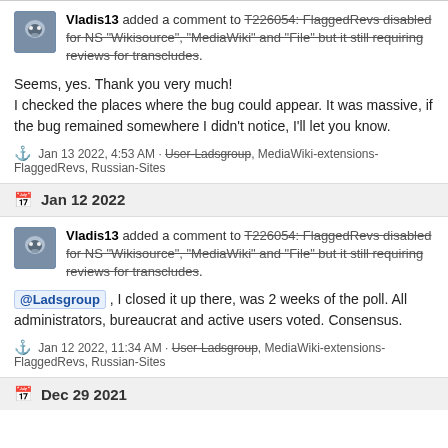Vladis13 added a comment to T226054: FlaggedRevs disabled for NS "Wikisource", "MediaWiki" and "File" but it still requiring reviews for transcludes.
Seems, yes. Thank you very much!
I checked the places where the bug could appear. It was massive, if the bug remained somewhere I didn't notice, I'll let you know.
Jan 13 2022, 4:53 AM · User-Ladsgroup, MediaWiki-extensions-FlaggedRevs, Russian-Sites
Jan 12 2022
Vladis13 added a comment to T226054: FlaggedRevs disabled for NS "Wikisource", "MediaWiki" and "File" but it still requiring reviews for transcludes.
@Ladsgroup , I closed it up there, was 2 weeks of the poll. All administrators, bureaucrat and active users voted. Consensus.
Jan 12 2022, 11:34 AM · User-Ladsgroup, MediaWiki-extensions-FlaggedRevs, Russian-Sites
Dec 29 2021